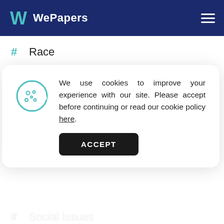WePapers
Race
Justice
Study
We use cookies to improve your experience with our site. Please accept before continuing or read our cookie policy here.
Social Issues
Violence